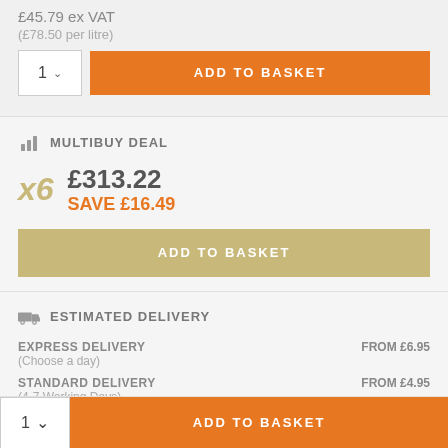£45.79 ex VAT
(£78.50 per litre)
ADD TO BASKET
MULTIBUY DEAL
x6 £313.22 SAVE £16.49
ADD TO BASKET
ESTIMATED DELIVERY
EXPRESS DELIVERY (Choose a day)    FROM £6.95
STANDARD DELIVERY (4-7 Working Days)    FROM £4.95
CLICK & COLLECT    FREE
ADD TO BASKET